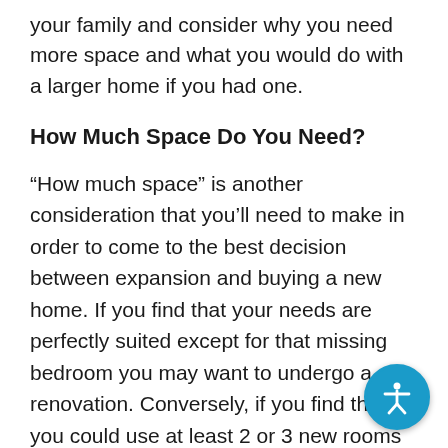your family and consider why you need more space and what you would do with a larger home if you had one.
How Much Space Do You Need?
“How much space” is another consideration that you’ll need to make in order to come to the best decision between expansion and buying a new home. If you find that your needs are perfectly suited except for that missing bedroom you may want to undergo a renovation. Conversely, if you find that you could use at least 2 or 3 new rooms and some extra room in the garage, you may want to start shopping for a new home.
Note that expanding your home to add an extra bedroom or to finish the basement will provide a